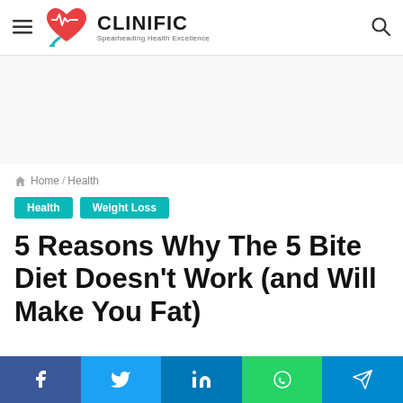CLINIFIC — Spearheading Health Excellence
[Figure (other): Advertisement/banner area (gray background, empty ad space)]
Home / Health
Health   Weight Loss
5 Reasons Why The 5 Bite Diet Doesn't Work (and Will Make You Fat)
[Figure (other): Social share bar with Facebook, Twitter, LinkedIn, WhatsApp, Telegram buttons]